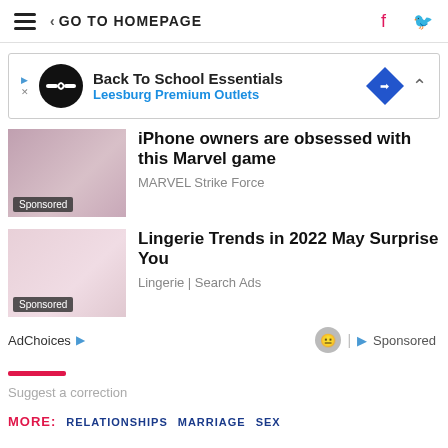≡ < GO TO HOMEPAGE
[Figure (screenshot): Advertisement banner for Back To School Essentials by Leesburg Premium Outlets]
iPhone owners are obsessed with this Marvel game
MARVEL Strike Force
Sponsored
Lingerie Trends in 2022 May Surprise You
Lingerie | Search Ads
Sponsored
AdChoices ▷
Sponsored
Suggest a correction
MORE:   RELATIONSHIPS   MARRIAGE   SEX